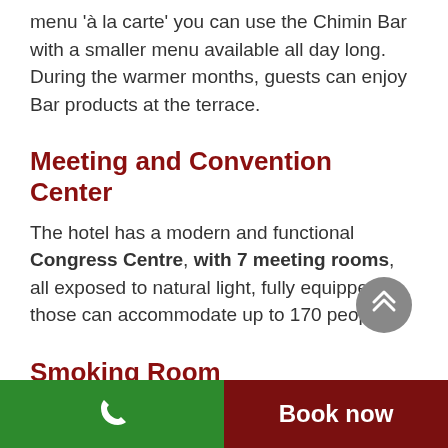menu 'à la carte' you can use the Chimin Bar with a smaller menu available all day long. During the warmer months, guests can enjoy Bar products at the terrace.
Meeting and Convention Center
The hotel has a modern and functional Congress Centre, with 7 meeting rooms, all exposed to natural light, fully equipped those can accommodate up to 170 people.
Smoking Room
[Figure (other): Scroll-to-top button, circular grey button with double chevron up arrow]
Phone call button | Book now